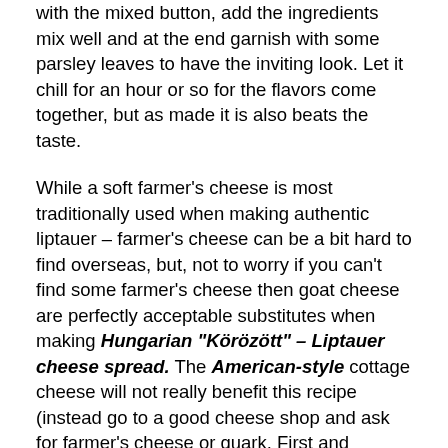with the mixed button, add the ingredients mix well and at the end garnish with some parsley leaves to have the inviting look. Let it chill for an hour or so for the flavors come together, but as made it is also beats the taste.
While a soft farmer's cheese is most traditionally used when making authentic liptauer – farmer's cheese can be a bit hard to find overseas, but, not to worry if you can't find some farmer's cheese then goat cheese are perfectly acceptable substitutes when making Hungarian "Körözött" – Liptauer cheese spread. The American-style cottage cheese will not really benefit this recipe (instead go to a good cheese shop and ask for farmer's cheese or quark. First and foremost the sheep's curd must be fresh and tender just as the butter.
The sweet or mild paprika (not hot paprika), onions give a nice base layer of smoky flavor with a hint of cumin. Also